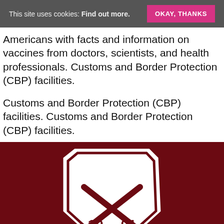This site uses cookies: Find out more. OKAY, THANKS
Americans with facts and information on vaccines from doctors, scientists, and health professionals. Customs and Border Protection (CBP) facilities.
Customs and Border Protection (CBP) facilities. Customs and Border Protection (CBP) facilities.
[Figure (logo): Shield-shaped logo on dark red background with crossed field hockey sticks and the year 1901 in the center]